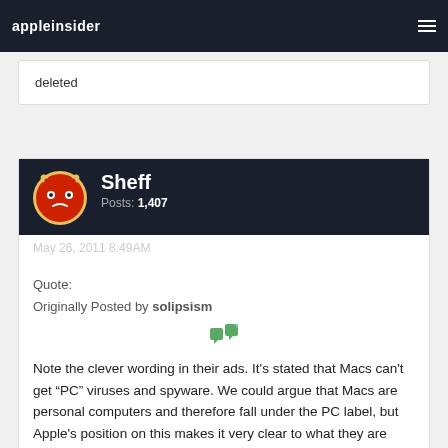appleinsider
deleted
Sheff
Posts: 1,407
May 26, 2011 8:49AM
Quote:
Originally Posted by solipsism
Note the clever wording in their ads. It's stated that Macs can't get “PC” viruses and spyware. We could argue that Macs are personal computers and therefore fall under the PC label, but Apple's position on this makes it very clear to what they are referring.